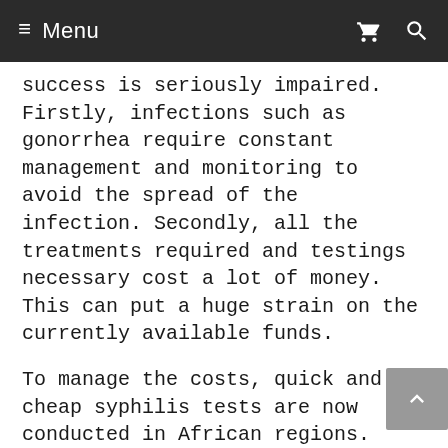Menu
success is seriously impaired. Firstly, infections such as gonorrhea require constant management and monitoring to avoid the spread of the infection. Secondly, all the treatments required and testings necessary cost a lot of money. This can put a huge strain on the currently available funds.
To manage the costs, quick and cheap syphilis tests are now conducted in African regions. Another serious problem that affects the whole effect of the program is discrimination. In many, if not all, African countries, it is impossible for healthcare workers to give any help to patience because of the discriminatory law. Lastly, international partners are crucial in programs